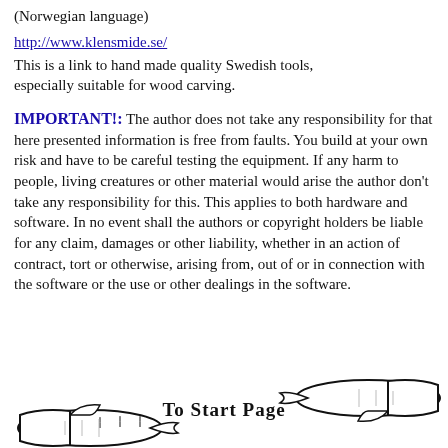(Norwegian language)
http://www.klensmide.se/
This is a link to hand made quality Swedish tools, especially suitable for wood carving.
IMPORTANT!: The author does not take any responsibility for that here presented information is free from faults. You build at your own risk and have to be careful testing the equipment. If any harm to people, living creatures or other material would arise the author don't take any responsibility for this. This applies to both hardware and software. In no event shall the authors or copyright holders be liable for any claim, damages or other liability, whether in an action of contract, tort or otherwise, arising from, out of or in connection with the software or the use or other dealings in the software.
[Figure (illustration): Hand-drawn illustration of two pointing hands with the text 'To Start Page' in between, acting as a navigation button.]